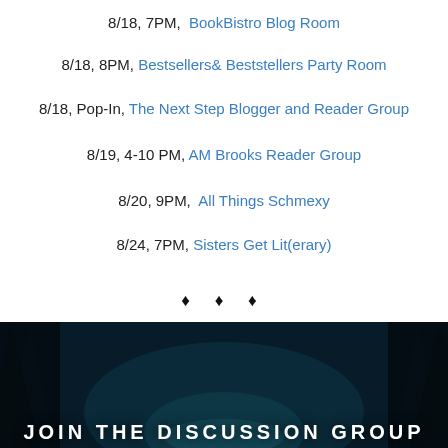8/18, 7PM, BookBistro Blog Room
8/18, 8PM, Bestsellers& Beststellers Party Room
8/18, Pop-In, The Next Step Blogger and Reader Group
8/19, 4-10 PM, AM Brooks Reader Group
8/20, 9PM, All Things Schmexy
8/24, 7PM, Sisters Get Lit(erary)
♦ ♦ ♦
[Figure (photo): Dark forest background image with text JOIN THE DISCUSSION GROUP at the bottom]